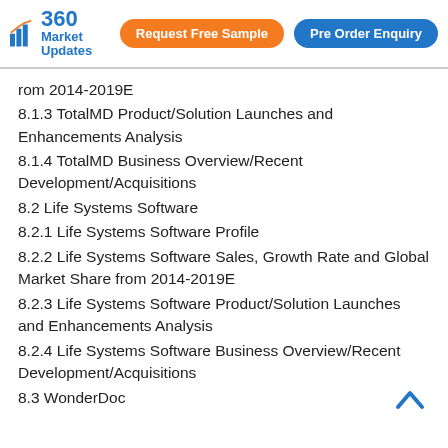360 Market Updates | Request Free Sample | Pre Order Enquiry
rom 2014-2019E
8.1.3 TotalMD Product/Solution Launches and Enhancements Analysis
8.1.4 TotalMD Business Overview/Recent Development/Acquisitions
8.2 Life Systems Software
8.2.1 Life Systems Software Profile
8.2.2 Life Systems Software Sales, Growth Rate and Global Market Share from 2014-2019E
8.2.3 Life Systems Software Product/Solution Launches and Enhancements Analysis
8.2.4 Life Systems Software Business Overview/Recent Development/Acquisitions
8.3 WonderDoc